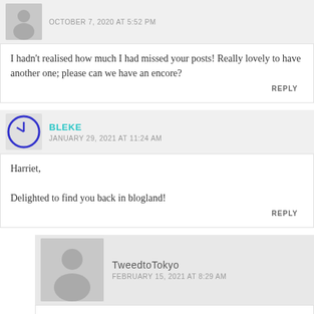OCTOBER 7, 2020 AT 5:52 PM
I hadn't realised how much I had missed your posts! Really lovely to have another one; please can we have an encore?
REPLY
BLEKE
JANUARY 29, 2021 AT 11:24 AM
Harriet,

Delighted to find you back in blogland!
REPLY
TweedtoTokyo
FEBRUARY 15, 2021 AT 8:29 AM
Hello. And sorry, as I've only just seen this.
And thank you. It is nice to be back/ish – not been many